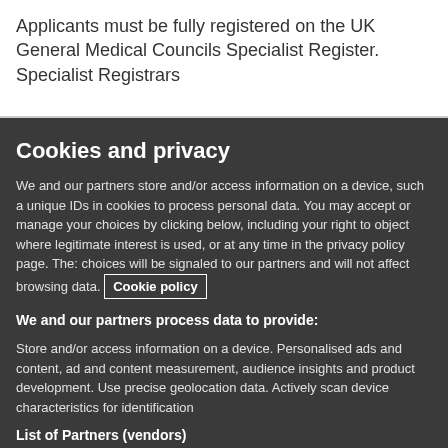Applicants must be fully registered on the UK General Medical Councils Specialist Register. Specialist Registrars
Cookies and privacy
We and our partners store and/or access information on a device, such a unique IDs in cookies to process personal data. You may accept or manage your choices by clicking below, including your right to object where legitimate interest is used, or at any time in the privacy policy page. These choices will be signaled to our partners and will not affect browsing data. Cookie policy
We and our partners process data to provide:
Store and/or access information on a device. Personalised ads and content, ad and content measurement, audience insights and product development. Use precise geolocation data. Actively scan device characteristics for identification
List of Partners (vendors)
I Accept